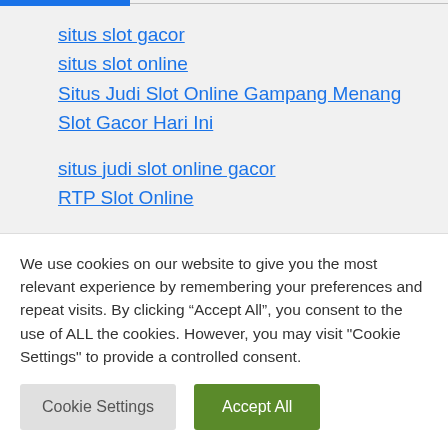situs slot gacor
situs slot online
Situs Judi Slot Online Gampang Menang
Slot Gacor Hari Ini
situs judi slot online gacor
RTP Slot Online
Amdbet merupakan situs judi slot online jackpot terbesar dan gampang menang yang paling gacor di
We use cookies on our website to give you the most relevant experience by remembering your preferences and repeat visits. By clicking “Accept All”, you consent to the use of ALL the cookies. However, you may visit "Cookie Settings" to provide a controlled consent.